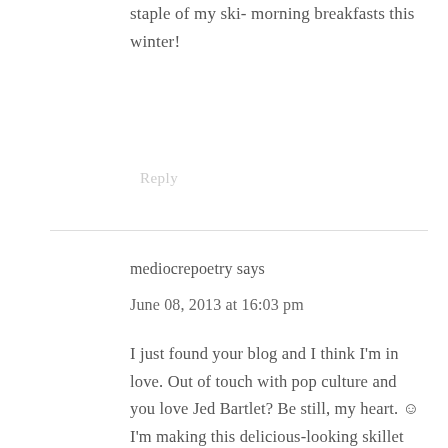staple of my ski- morning breakfasts this winter!
Reply
mediocrepoetry says
June 08, 2013 at 16:03 pm
I just found your blog and I think I'm in love. Out of touch with pop culture and you love Jed Bartlet? Be still, my heart. ☺ I'm making this delicious-looking skillet for my boyfriend and I tonight. Can't wait.